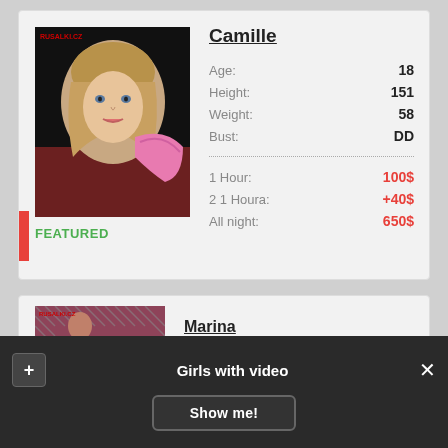[Figure (photo): Photo of Camille with watermark RUSALKI.CZ, blonde woman with pink gloves]
FEATURED
Camille
| Age: | 18 |
| Height: | 151 |
| Weight: | 58 |
| Bust: | DD |
| 1 Hour: | 100$ |
| 2 1 Houra: | +40$ |
| All night: | 650$ |
[Figure (photo): Photo of Marina with watermark RUSALKI.CZ, woman with pink background and chain-link pattern]
Marina
Girls with video
Show me!